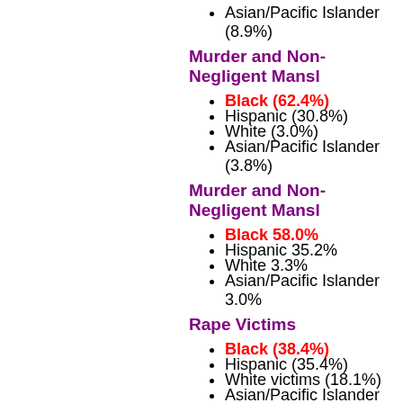Asian/Pacific Islander (8.9%)
Murder and Non-Negligent Mansl…
Black (62.4%)
Hispanic (30.8%)
White (3.0%)
Asian/Pacific Islander (3.8%)
Murder and Non-Negligent Mansl…
Black 58.0%
Hispanic 35.2%
White 3.3%
Asian/Pacific Islander 3.0%
Rape Victims
Black (38.4%)
Hispanic (35.4%)
White victims (18.1%)
Asian/Pacific Islander (8.0%)